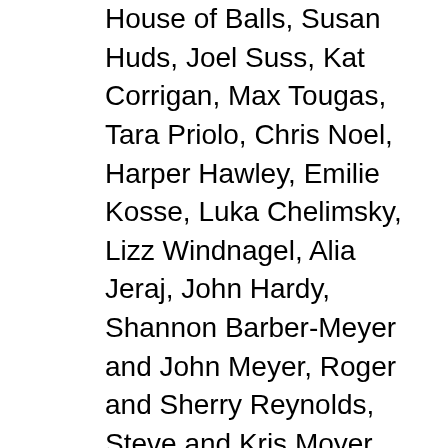House of Balls, Susan Huds, Joel Suss, Kat Corrigan, Max Tougas, Tara Priolo, Chris Noel, Harper Hawley, Emilie Kosse, Luka Chelimsky, Lizz Windnagel, Alia Jeraj, John Hardy, Shannon Barber-Meyer and John Meyer, Roger and Sherry Reynolds, Steve and Kris Moyer, Amy and Alex Negrete, Johnnie Hyde, Ericka and Jack LaMar of Early Frost Farm, Eva Barr and DreamAcres, Susan Waughtal and Roger Nelson of Squash Blossom Farm, Pamela Hugdahl of Rochester Art Center, Heidi Nelson of the Paradice Center, Amy Sterns of the Historic Holmes Theater, Kris Lenkowski of Ramsey County Parks, the staff of Dodge Nature Center and the Women's Environmental Institute, Will Stensrud of the Kenwood Neighborhood Association, Nan Bailly and the staff of Alexis Bailly Vineyard, MaryLynn Pulscher